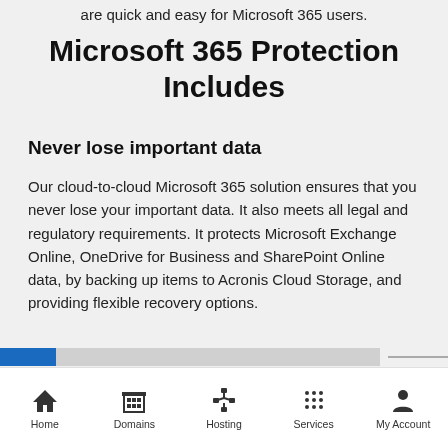are quick and easy for Microsoft 365 users.
Microsoft 365 Protection Includes
Never lose important data
Our cloud-to-cloud Microsoft 365 solution ensures that you never lose your important data. It also meets all legal and regulatory requirements. It protects Microsoft Exchange Online, OneDrive for Business and SharePoint Online data, by backing up items to Acronis Cloud Storage, and providing flexible recovery options.
Home | Domains | Hosting | Services | My Account